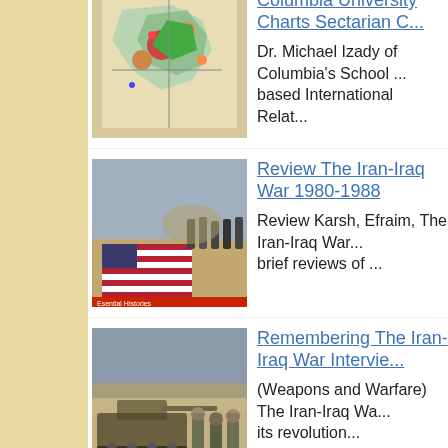[Figure (photo): Colorful sectarian/ethnic map of what appears to be Baghdad or Iraq region with green, red, orange markings]
Columbia University Charts Sectarian C... Dr. Michael Izady of Columbia's School ... based International Relat...
[Figure (photo): Soldiers marching past a large American flag on the ground, book cover for The Iran-Iraq War]
Review The Iran-Iraq War 1980-1988 Review Karsh, Efraim, The Iran-Iraq War... brief reviews of ...
[Figure (photo): Tank and soldiers in desert combat scene from the Iran-Iraq War]
Remembering The Iran-Iraq War Intervie... (Weapons and Warfare) The Iran-Iraq Wa... its revolution...